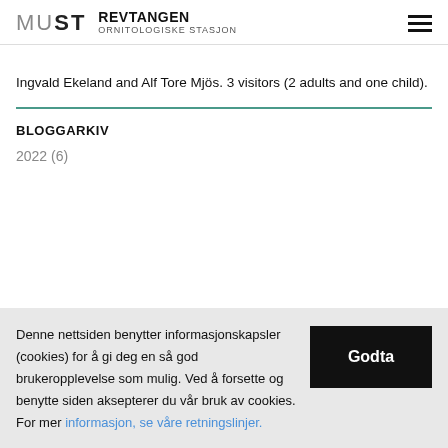MUST REVTANGEN ORNITOLOGISKE STASJON
Ingvald Ekeland and Alf Tore Mjös. 3 visitors (2 adults and one child).
BLOGGARKIV
2022 (6)
Denne nettsiden benytter informasjonskapsler (cookies) for å gi deg en så god brukeropplevelse som mulig. Ved å forsette og benytte siden aksepterer du vår bruk av cookies. For mer informasjon, se våre retningslinjer.